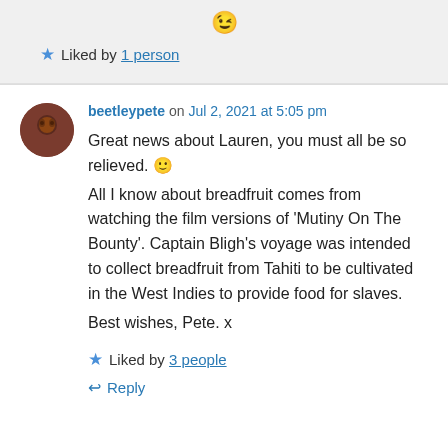😉
★ Liked by 1 person
beetleypete on Jul 2, 2021 at 5:05 pm
Great news about Lauren, you must all be so relieved. 🙂
All I know about breadfruit comes from watching the film versions of 'Mutiny On The Bounty'. Captain Bligh's voyage was intended to collect breadfruit from Tahiti to be cultivated in the West Indies to provide food for slaves.
Best wishes, Pete. x
★ Liked by 3 people
Reply